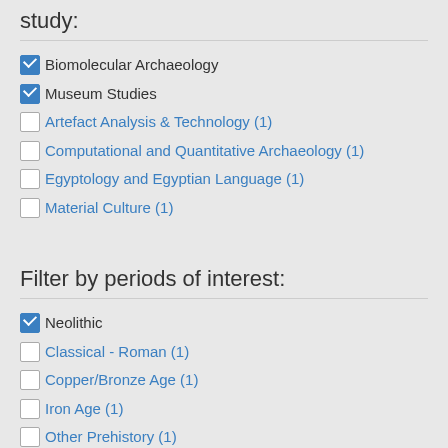study:
✓ Biomolecular Archaeology (checked)
✓ Museum Studies (checked)
Artefact Analysis & Technology (1)
Computational and Quantitative Archaeology (1)
Egyptology and Egyptian Language (1)
Material Culture (1)
Filter by periods of interest:
✓ Neolithic (checked)
Classical - Roman (1)
Copper/Bronze Age (1)
Iron Age (1)
Other Prehistory (1)
Pharaonic (1)